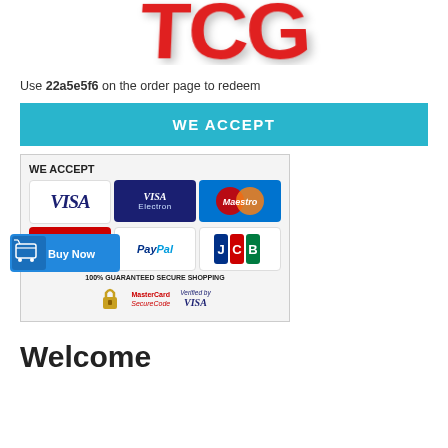[Figure (illustration): Red 3D bold text logo partially visible at top of page]
Use 22a5e5f6 on the order page to redeem
WE ACCEPT
[Figure (infographic): Payment methods graphic showing WE ACCEPT header, VISA, VISA Electron, Maestro, MasterCard, PayPal, JCB logos, with 100% GUARANTEED SECURE SHOPPING text, MasterCard SecureCode and Verified by VISA badges, and a Buy Now cart button overlay]
Welcome